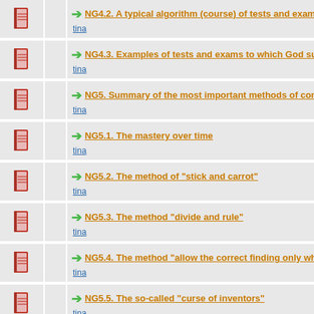NG4.2. A typical algorithm (course) of tests and exams to w...
NG4.3. Examples of tests and exams to which God subjects...
NG5. Summary of the most important methods of controllin...
NG5.1. The mastery over time
NG5.2. The method of "stick and carrot"
NG5.3. The method "divide and rule"
NG5.4. The method "allow the correct finding only when pe...
NG5.5. The so-called "curse of inventors"
NH. The "great bang" and "natural evolution" as inspiring ...
NH1. What vital reasons had God to create the "simulated ...